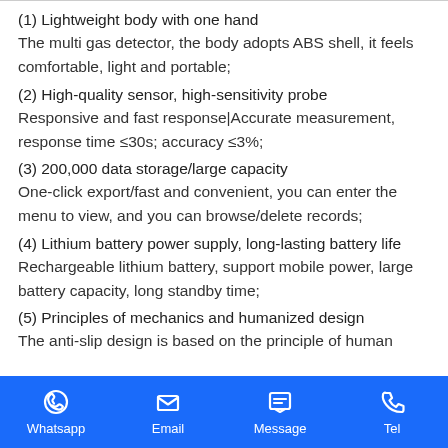(1) Lightweight body with one hand
The multi gas detector, the body adopts ABS shell, it feels comfortable, light and portable;
(2) High-quality sensor, high-sensitivity probe
Responsive and fast response|Accurate measurement, response time ≤30s; accuracy ≤3%;
(3) 200,000 data storage/large capacity
One-click export/fast and convenient, you can enter the menu to view, and you can browse/delete records;
(4) Lithium battery power supply, long-lasting battery life
Rechargeable lithium battery, support mobile power, large battery capacity, long standby time;
(5) Principles of mechanics and humanized design
The anti-slip design is based on the principle of human
Whatsapp  Email  Message  Tel